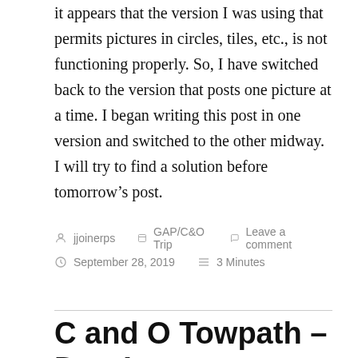it appears that the version I was using that permits pictures in circles, tiles, etc., is not functioning properly. So, I have switched back to the version that posts one picture at a time. I began writing this post in one version and switched to the other midway. I will try to find a solution before tomorrow's post.
jjoinerps  GAP/C&O Trip  Leave a comment  September 28, 2019  3 Minutes
C and O Towpath – Day 1 – Cumberland, MD to Paw Paw, WV